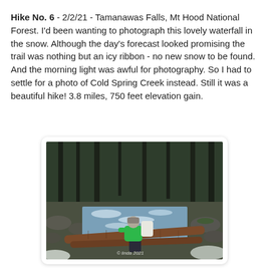Hike No. 6 - 2/2/21 - Tamanawas Falls, Mt Hood National Forest. I'd been wanting to photograph this lovely waterfall in the snow. Although the day's forecast looked promising the trail was nothing but an icy ribbon - no new snow to be found. And the morning light was awful for photography. So I had to settle for a photo of Cold Spring Creek instead. Still it was a beautiful hike! 3.8 miles, 750 feet elevation gain.
[Figure (photo): A person in a bright green jacket sitting on a fallen log over a rushing creek in a snowy forest. Watermark reads '© linda 2021'.]